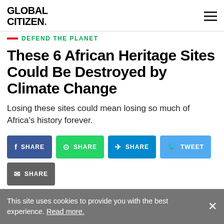GLOBAL CITIZEN.
DEFEND THE PLANET
These 6 African Heritage Sites Could Be Destroyed by Climate Change
Losing these sites could mean losing so much of Africa's history forever.
SHARE (Facebook) | SHARE (WhatsApp) | SHARE (Telegram) | TWEET (Twitter) | SHARE (Email)
This site uses cookies to provide you with the best experience. Read more.